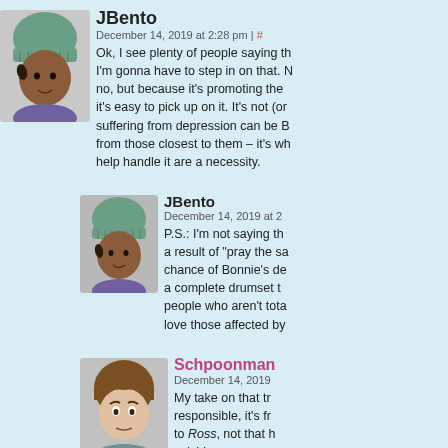[Figure (illustration): Avatar of JBento, a cartoon person with green knit hat and dark skin]
JBento
December 14, 2019 at 2:28 pm | #
Ok, I see plenty of people saying th... I'm gonna have to step in on that. N... no, but because it's promoting the ... it's easy to pick up on it. It's not (or... suffering from depression can be B... from those closest to them – it's wh... help handle it are a necessity.
[Figure (illustration): Avatar of JBento again, same cartoon person with green knit hat]
JBento
December 14, 2019 at 2...
P.S.: I'm not saying th... a result of "pray the sa... chance of Bonnie's de... a complete drumset t... people who aren't tota... love those affected by...
[Figure (illustration): Avatar of Schpoonman, a cartoon person with brown hair looking surprised]
Schpoonman
December 14, 2019...
My take on that tr... responsible, it's fr... to Ross, not that h... suicide.